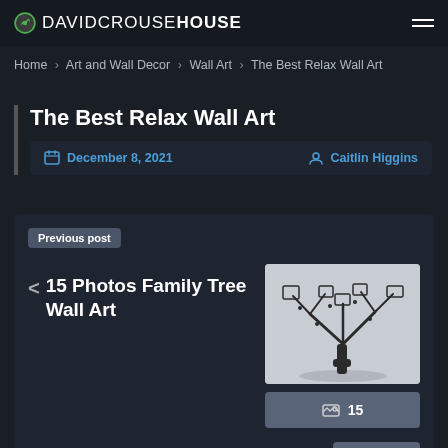DAVIDCROUSEHOUSE
Home › Art and Wall Decor › Wall Art › The Best Relax Wall Art
The Best Relax Wall Art
December 8, 2021  Caitlin Higgins
Previous post
< 15 Photos Family Tree Wall Art
[Figure (photo): Thumbnail photo of a family tree wall art decal showing a tree with square photo frames as branches]
15
Next post